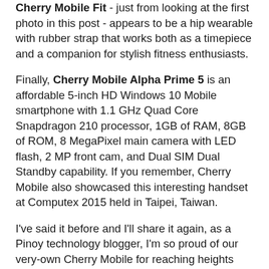Cherry Mobile Fit - just from looking at the first photo in this post - appears to be a hip wearable with rubber strap that works both as a timepiece and a companion for stylish fitness enthusiasts.
Finally, Cherry Mobile Alpha Prime 5 is an affordable 5-inch HD Windows 10 Mobile smartphone with 1.1 GHz Quad Core Snapdragon 210 processor, 1GB of RAM, 8GB of ROM, 8 MegaPixel main camera with LED flash, 2 MP front cam, and Dual SIM Dual Standby capability. If you remember, Cherry Mobile also showcased this interesting handset at Computex 2015 held in Taipei, Taiwan.
I've said it before and I'll share it again, as a Pinoy technology blogger, I'm so proud of our very-own Cherry Mobile for reaching heights that no Pinoy electronics company has scraped before. The amazing team behind the company accomplished all that with diligence, hard-work, and boldness. Two thumbs up, Cherry Mobile! Pride Pride, for sure!